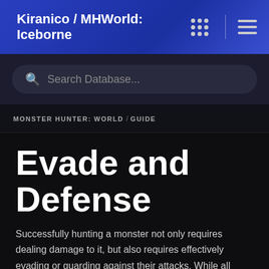Kiranico / MHWorld: Iceborne
Search Database...
MONSTER HUNTER: WORLD / GUIDE
Evade and Defense
Successfully hunting a monster not only requires dealing damage to it, but also requires effectively evading or guarding against their attacks. While all weapons have evasive maneuvers, only some weapons can guard.
Evade Window